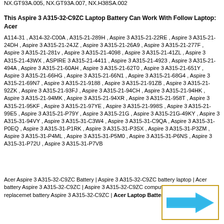NX.GT93A.005, NX.GT93A.007, NX.H38SA.002
This Aspire 3 A315-32-C9ZC Laptop Battery Can Work With Follow Laptop: Acer
A114-31 , A314-32-C00A , A315-21-289H , Aspire 3 A315-21-22RE , Aspire 3 A315-21-24DH , Aspire 3 A315-21-24JZ , Aspire 3 A315-21-26A9 , Aspire 3 A315-21-277F , Aspire 3 A315-21-281v , Aspire 3 A315-21-4098 , Aspire 3 A315-21-41ZL , Aspire 3 A315-21-43WX , ASPIRE 3 A315-21-4411 , Aspire 3 A315-21-4923 , Aspire 3 A315-21-494A , Aspire 3 A315-21-60AH , Aspire 3 A315-21-62T0 , Aspire 3 A315-21-651Y , Aspire 3 A315-21-66HG , Aspire 3 A315-21-66N1 , Aspire 3 A315-21-68G4 , Aspire 3 A315-21-69N7 , Aspire 3 A315-21-9188 , Aspire 3 A315-21-91ZB , Aspire 3 A315-21-92ZK , Aspire 3 A315-21-93FJ , Aspire 3 A315-21-94CH , Aspire 3 A315-21-94HK , Aspire 3 A315-21-94MK , Aspire 3 A315-21-94XR , Aspire 3 A315-21-958T , Aspire 3 A315-21-95KF , Aspire 3 A315-21-97YE , Aspire 3 A315-21-998S , Aspire 3 A315-21-99E5 , Aspire 3 A315-21-P79Y , Aspire 3 A315-21G , Aspire 3 A315-21G-49KY , Aspire 3 A315-31-94VY , Aspire 3 A315-31-C3W4 , Aspire 3 A315-31-C9QA , Aspire 3 A315-31-P0EQ , Aspire 3 A315-31-P1RK , Aspire 3 A315-31-P3SX , Aspire 3 A315-31-P3ZM , Aspire 3 A315-31-P4ML , Aspire 3 A315-31-P5M0 , Aspire 3 A315-31-P6NS , Aspire 3 A315-31-P72U , Aspire 3 A315-31-P7VB
Acer Aspire 3 A315-32-C9ZC Battery | Aspire 3 A315-32-C9ZC battery laptop | Acer battery Aspire 3 A315-32-C9ZC | Aspire 3 A315-32-C9ZC computer battery | Acer replacemet battery Aspire 3 A315-32-C9ZC | Acer Laptop Battery
[Figure (illustration): A right-pointing arrow in blue/cyan color inside a gold/yellow bordered rectangle box]